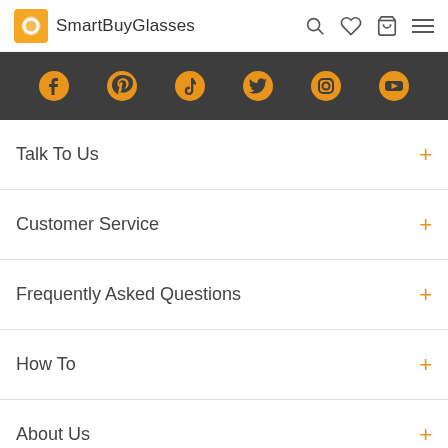SmartBuyGlasses
[Figure (infographic): Social media icons bar with Facebook, Pinterest, TikTok, Twitter, Instagram, YouTube icons in orange on dark grey background]
Talk To Us
Customer Service
Frequently Asked Questions
How To
About Us
[Figure (infographic): Payment method icons: VISA, Mastercard, American Express, PayPal]